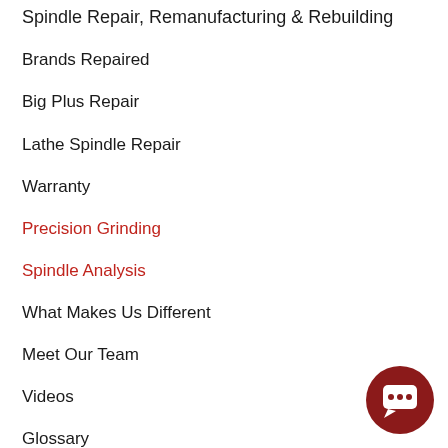Spindle Repair, Remanufacturing & Rebuilding
Brands Repaired
Big Plus Repair
Lathe Spindle Repair
Warranty
Precision Grinding
Spindle Analysis
What Makes Us Different
Meet Our Team
Videos
Glossary
[Figure (illustration): Dark red circular chat/message button widget in the bottom-right corner]